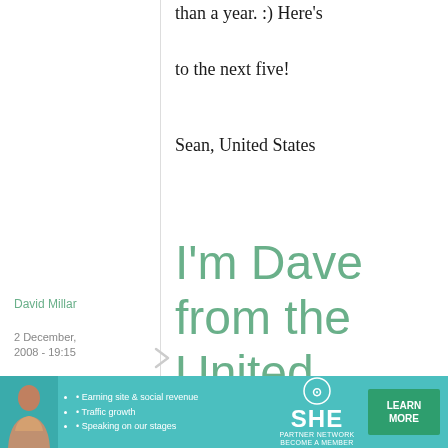than a year. :) Here's to the next five!
Sean, United States
David Millar
2 December, 2008 - 19:15
permalink
I'm Dave from the United
I'm Dave from the United States of America, and thanks
[Figure (photo): Advertisement banner for SHE Media Partner Network featuring a woman, bullet points about earning site & social revenue, traffic growth, speaking on stages, SHE logo, and LEARN MORE button]